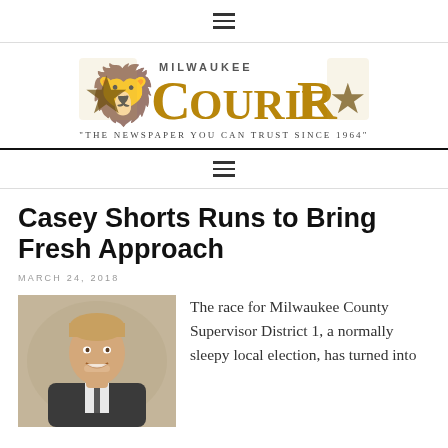☰ (navigation)
[Figure (logo): Milwaukee Courier newspaper logo with decorative lion/crest motifs on either side of stylized golden C and R letters with 'MILWAUKEE' above and 'COURIER' text, tagline below: "THE NEWSPAPER YOU CAN TRUST SINCE 1964"]
☰ (navigation)
Casey Shorts Runs to Bring Fresh Approach
MARCH 24, 2018
[Figure (photo): Professional headshot of a smiling young man in a suit with short blond hair against a neutral background]
The race for Milwaukee County Supervisor District 1, a normally sleepy local election, has turned into